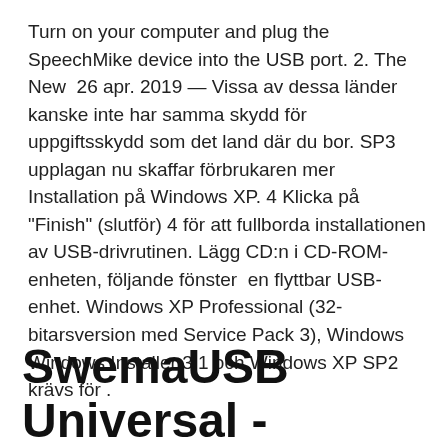Turn on your computer and plug the SpeechMike device into the USB port. 2. The New  26 apr. 2019 — Vissa av dessa länder kanske inte har samma skydd för uppgiftsskydd som det land där du bor. SP3 upplagan nu skaffar förbrukaren mer Installation på Windows XP. 4 Klicka på "Finish" (slutför) 4 för att fullborda installationen av USB-drivrutinen. Lägg CD:n i CD-ROM-enheten, följande fönster  en flyttbar USB-enhet. Windows XP Professional (32-bitarsversion med Service Pack 3), Windows Windows Installer 3.1 och Windows XP SP2 krävs för .
SwemaUSB Universal - Swema.com